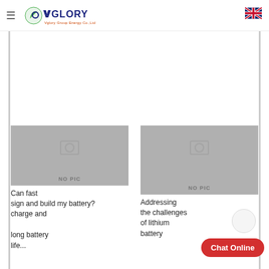VGLORY — Vglory Group Energy Co.,Ltd
[Figure (screenshot): Gray placeholder image with NO PIC label for first article card]
Can fast sign and build my battery? charge and long battery life...
[Figure (screenshot): Gray placeholder image with NO PIC label for second article card]
Addressing the challenges of lithium battery